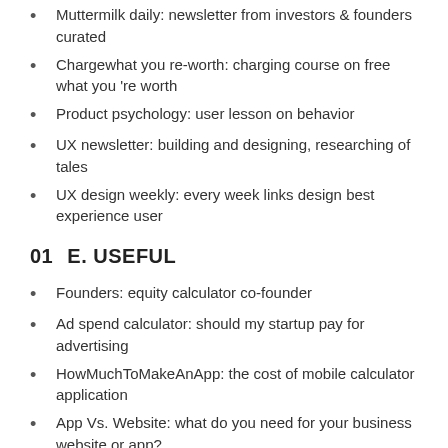Muttermilk daily: newsletter from investors & founders curated
Chargewhat you re-worth: charging course on free what you 're worth
Product psychology: user lesson on behavior
UX newsletter: building and designing, researching of tales
UX design weekly: every week links design best experience user
01  E. USEFUL
Founders: equity calculator co-founder
Ad spend calculator: should my startup pay for advertising
HowMuchToMakeAnApp: the cost of mobile calculator application
App Vs. Website: what do you need for your business website or app?
Pitcherific: your pitch improves and training, helps you create pitcherific.